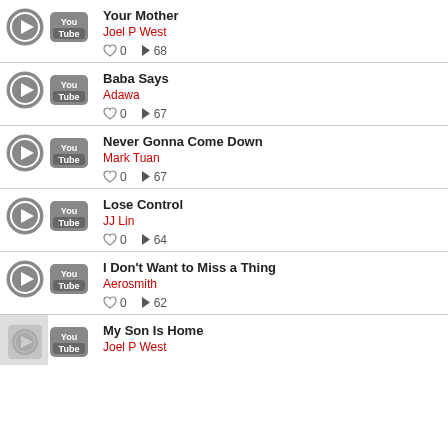Your Mother | Joel P West | ♡ 0 | ▶ 68
Baba Says | Adawa | ♡ 0 | ▶ 67
Never Gonna Come Down | Mark Tuan | ♡ 0 | ▶ 67
Lose Control | JJ Lin | ♡ 0 | ▶ 64
I Don't Want to Miss a Thing | Aerosmith | ♡ 0 | ▶ 62
My Son Is Home | Joel P West